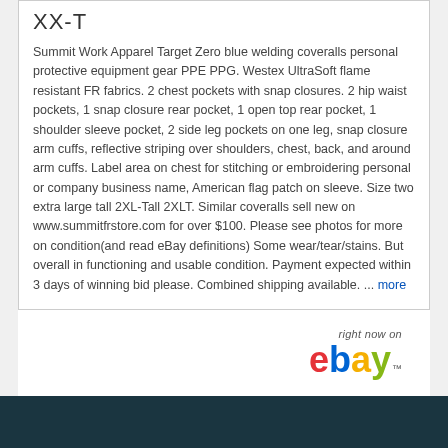XX-T
Summit Work Apparel Target Zero blue welding coveralls personal protective equipment gear PPE PPG. Westex UltraSoft flame resistant FR fabrics. 2 chest pockets with snap closures. 2 hip waist pockets, 1 snap closure rear pocket, 1 open top rear pocket, 1 shoulder sleeve pocket, 2 side leg pockets on one leg, snap closure arm cuffs, reflective striping over shoulders, chest, back, and around arm cuffs. Label area on chest for stitching or embroidering personal or company business name, American flag patch on sleeve. Size two extra large tall 2XL-Tall 2XLT. Similar coveralls sell new on www.summitfrstore.com for over $100. Please see photos for more on condition(and read eBay definitions) Some wear/tear/stains. But overall in functioning and usable condition. Payment expected within 3 days of winning bid please. Combined shipping available. ... more
[Figure (logo): eBay logo with 'right now on' text above]
Fishing